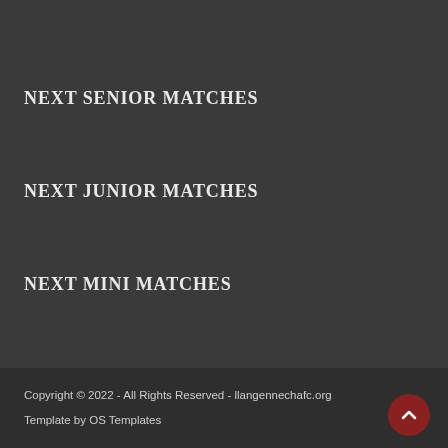NEXT SENIOR MATCHES
NEXT JUNIOR MATCHES
NEXT MINI MATCHES
Copyright © 2022 - All Rights Reserved - llangennechafc.org
Template by OS Templates